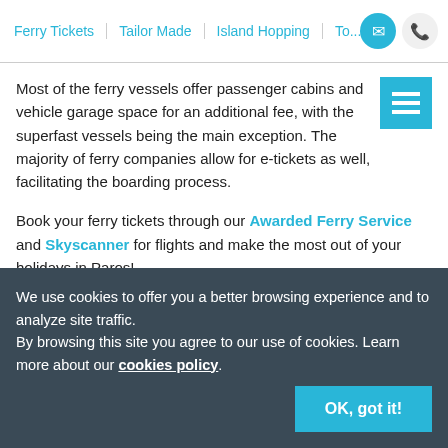Ferry Tickets | Tailor Made | Island Hopping | To... [icons]
Most of the ferry vessels offer passenger cabins and vehicle garage space for an additional fee, with the superfast vessels being the main exception. The majority of ferry companies allow for e-tickets as well, facilitating the boarding process.
Book your ferry tickets through our Awarded Ferry Service and Skyscanner for flights and make the most out of your holidays in Paros!
We use cookies to offer you a better browsing experience and to analyze site traffic.
By browsing this site you agree to our use of cookies. Learn more about our cookies policy
OK, got it!